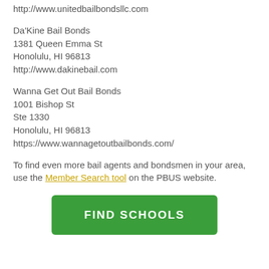http://www.unitedbailbondsllc.com
Da'Kine Bail Bonds
1381 Queen Emma St
Honolulu, HI 96813
http://www.dakinebail.com
Wanna Get Out Bail Bonds
1001 Bishop St
Ste 1330
Honolulu, HI 96813
https://www.wannagetoutbailbonds.com/
To find even more bail agents and bondsmen in your area, use the Member Search tool on the PBUS website.
[Figure (other): Green button labeled FIND SCHOOLS]